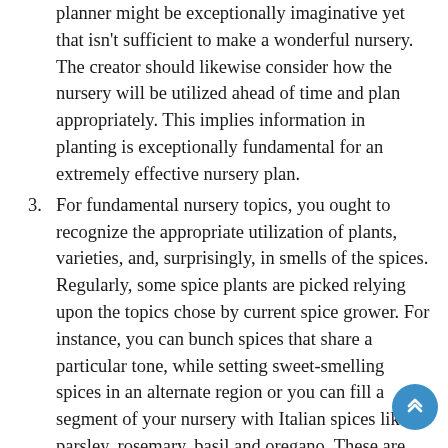planner might be exceptionally imaginative yet that isn't sufficient to make a wonderful nursery. The creator should likewise consider how the nursery will be utilized ahead of time and plan appropriately. This implies information in planting is exceptionally fundamental for an extremely effective nursery plan.
3. For fundamental nursery topics, you ought to recognize the appropriate utilization of plants, varieties, and, surprisingly, in smells of the spices. Regularly, some spice plants are picked relying upon the topics chose by current spice grower. For instance, you can bunch spices that share a particular tone, while setting sweet-smelling spices in an alternate region or you can fill a segment of your nursery with Italian spices like parsley, rosemary, basil and oregano. These are only a few plans to kick you off.
4. In the event that you like to plan your nursery in a proper manner, you can utilize mathematical plans like squares or circles. In a conventional nursery plan, the spices' tones are appropriately chosen; are organized by level; and has a decent even plan. Genuine instances of formal plan gardens are Knot gardens and Spiral spices...